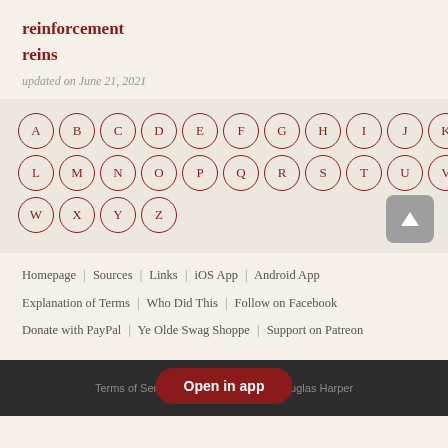reinforcement
reins
updated on June 21, 2021
[Figure (other): Alphabet navigation buttons A through Z arranged in three rows with circular borders in dark red]
Homepage | Sources | Links | iOS App | Android App | Explanation of Terms | Who Did This | Follow on Facebook | Donate with PayPal | Ye Olde Swag Shoppe | Support on Patreon
Terms of Service | P... -2022 Douglas Harper
Open in app